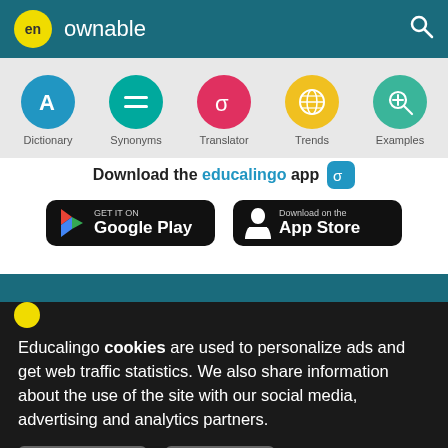en ownable
[Figure (screenshot): Navigation icons row: Dictionary (blue circle with A), Synonyms (teal circle with equals), Translator (red circle with sigma), Trends (yellow circle with globe), Examples (green circle with magnifier)]
Download the educalingo app
[Figure (screenshot): Google Play and App Store download buttons]
Educalingo cookies are used to personalize ads and get web traffic statistics. We also share information about the use of the site with our social media, advertising and analytics partners.
View details   Got it